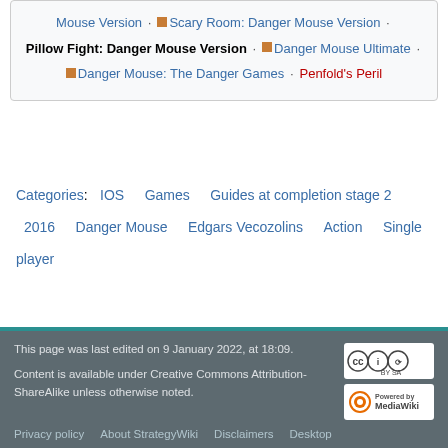Mouse Version · Scary Room: Danger Mouse Version · Pillow Fight: Danger Mouse Version · Danger Mouse Ultimate · Danger Mouse: The Danger Games · Penfold's Peril
Categories: IOS   Games   Guides at completion stage 2   2016   Danger Mouse   Edgars Vecozolins   Action   Single player
This page was last edited on 9 January 2022, at 18:09.

Content is available under Creative Commons Attribution-ShareAlike unless otherwise noted.

Privacy policy   About StrategyWiki   Disclaimers   Desktop